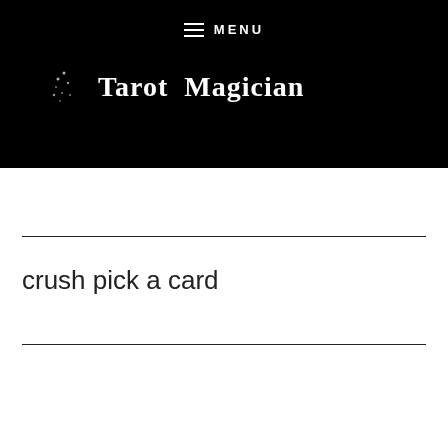MENU
Tarot Magician
crush pick a card